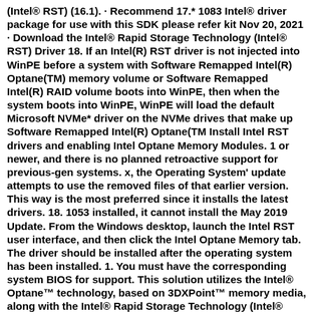(Intel® RST) (16.1). · Recommend 17.* 1083 Intel® driver package for use with this SDK please refer kit Nov 20, 2021 · Download the Intel® Rapid Storage Technology (Intel® RST) Driver 18. If an Intel(R) RST driver is not injected into WinPE before a system with Software Remapped Intel(R) Optane(TM) memory volume or Software Remapped Intel(R) RAID volume boots into WinPE, then when the system boots into WinPE, WinPE will load the default Microsoft NVMe* driver on the NVMe drives that make up Software Remapped Intel(R) Optane(TM Install Intel RST drivers and enabling Intel Optane Memory Modules. 1 or newer, and there is no planned retroactive support for previous-gen systems. x, the Operating System' update attempts to use the removed files of that earlier version. This way is the most preferred since it installs the latest drivers. 18. 1053 installed, it cannot install the May 2019 Update. From the Windows desktop, launch the Intel RST user interface, and then click the Intel Optane Memory tab. The driver should be installed after the operating system has been installed. 1. You must have the corresponding system BIOS for support. This solution utilizes the Intel® Optane™ technology, based on 3DXPoint™ memory media, along with the Intel® Rapid Storage Technology (Intel® RST) driver. Apr 27, 2021 · This automatically installs Intel RST driver Package and Intel Optane Memory Application which will be retrieved in Microsoft Store. Acelere su experiencia informática con un menor tiempo de arranque, un inicio rápido de aplicaciones